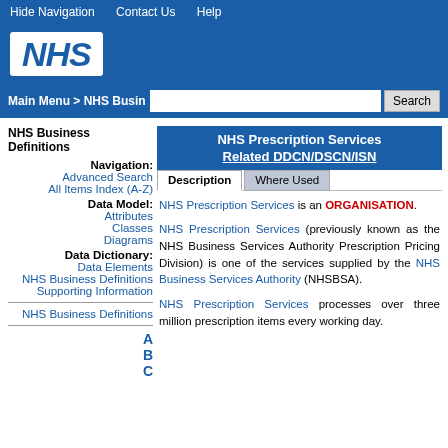Hide Navigation   Contact Us   Help
[Figure (logo): NHS logo - white text on blue background with white panel]
Main Menu > NHS Busin...
NHS Business Definitions
Navigation:
Advanced Search
All Items Index (A-Z)
Data Model:
Attributes
Classes
Diagrams
Data Dictionary:
Data Elements
NHS Business Definitions
Supporting Information
NHS Business Definitions
A
B
NHS Prescription Services Related DDCN/DSCN/ISN
Description | Where Used
NHS Prescription Services is an ORGANISATION.
NHS Prescription Services (previously known as the NHS Business Services Authority Prescription Pricing Division) is one of the services supplied by the NHS Business Services Authority (NHSBSA).
NHS Prescription Services processes over three million prescription items every working day.